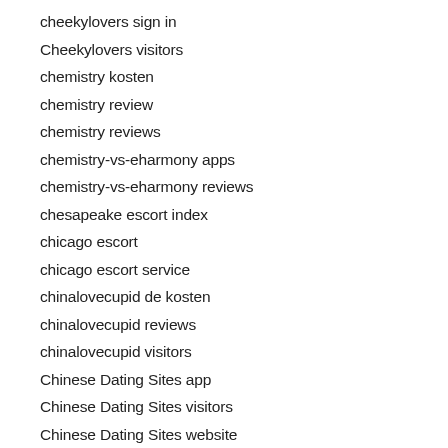cheekylovers sign in
Cheekylovers visitors
chemistry kosten
chemistry review
chemistry reviews
chemistry-vs-eharmony apps
chemistry-vs-eharmony reviews
chesapeake escort index
chicago escort
chicago escort service
chinalovecupid de kosten
chinalovecupid reviews
chinalovecupid visitors
Chinese Dating Sites app
Chinese Dating Sites visitors
Chinese Dating Sites website
chodit s nekym v 30 v usa
christ-sucht-christs.de Handy, Mobiltelefon